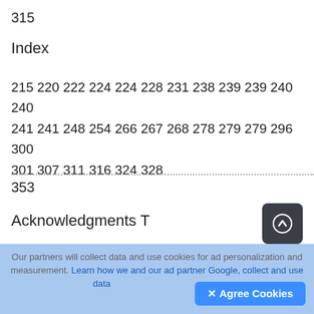315
Index
215 220 222 224 224 228 231 238 239 239 240 240 241 241 248 254 266 267 268 278 279 279 296 300 301 307 311 316 324 328
353
Acknowledgments T
hanks to all the folks who helped me with this book —particularly the technical editor, Billy Myers, who